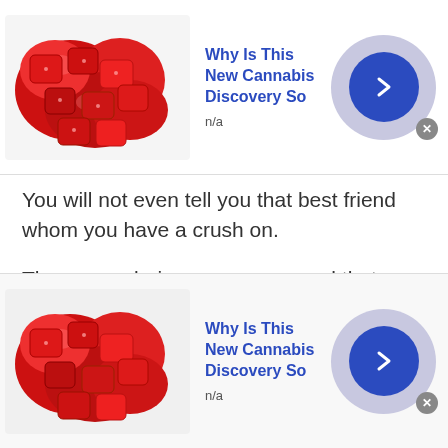[Figure (screenshot): Top advertisement banner: image of red candy/gummies on left, title 'Why Is This New Cannabis Discovery So' in blue bold, subtitle 'n/a', right side has lavender circle with blue arrow button and close X button]
You will not even tell you that best friend whom you have a crush on.
The reason being, you are scared that you will lose your friendship if you do so. It also itches you to see her every day and not express your feelings to her. In this case, when you cannot talk to any of your close ones, you will then need someone who will listen to you without judging you. On the platform of talkwithstranger, you will find many people with
[Figure (screenshot): Bottom advertisement banner: image of red candy/gummies on left, title 'Why Is This New Cannabis Discovery So' in blue bold, subtitle 'n/a', right side has lavender circle with blue arrow button and close X button]